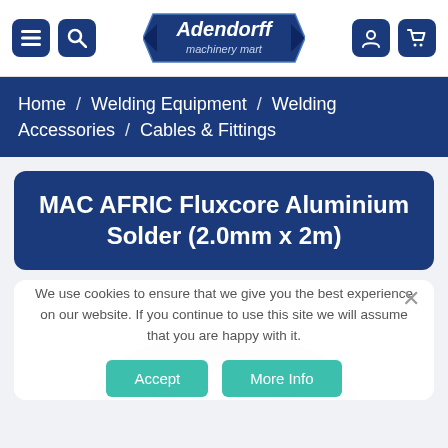Adendorff machinery mart - navigation header
Home / Welding Equipment / Welding Accessories / Cables & Fittings
MAC AFRIC Fluxcore Aluminium Solder (2.0mm x 2m)
We use cookies to ensure that we give you the best experience on our website. If you continue to use this site we will assume that you are happy with it.
[Figure (photo): Aluminium solder coil wire product photo, partially obscured by cookie consent overlay]